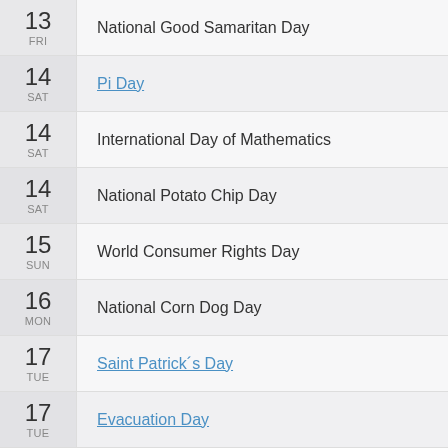13 FRI — National Good Samaritan Day
14 SAT — Pi Day
14 SAT — International Day of Mathematics
14 SAT — National Potato Chip Day
15 SUN — World Consumer Rights Day
16 MON — National Corn Dog Day
17 TUE — Saint Patrick´s Day
17 TUE — Evacuation Day